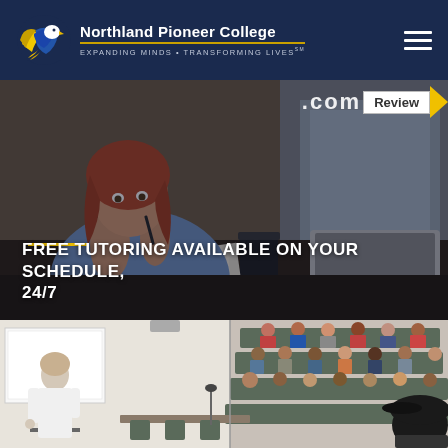Northland Pioneer College — Expanding Minds • Transforming Lives
[Figure (photo): Woman sitting at desk with laptop, thinking, holding a pen. Overlay shows partial URL bar with '.com' and a 'Review' tag. Gold accent line. Text overlay: FREE TUTORING AVAILABLE ON YOUR SCHEDULE, 24/7]
FREE TUTORING AVAILABLE ON YOUR SCHEDULE, 24/7
[Figure (photo): Classroom scene: instructor in white coat at whiteboard on left, students seated in lecture hall chairs on right, student in black cap in foreground]